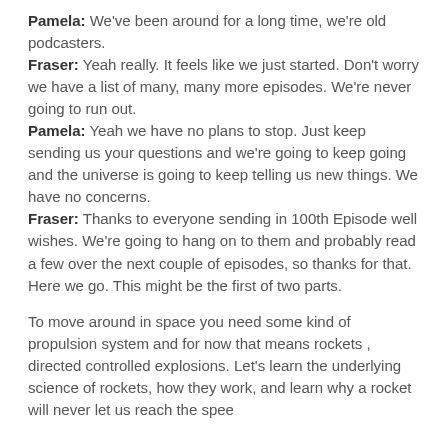Pamela: We've been around for a long time, we're old podcasters.
Fraser: Yeah really. It feels like we just started. Don't worry we have a list of many, many more episodes. We're never going to run out.
Pamela: Yeah we have no plans to stop. Just keep sending us your questions and we're going to keep going and the universe is going to keep telling us new things. We have no concerns.
Fraser: Thanks to everyone sending in 100th Episode well wishes. We're going to hang on to them and probably read a few over the next couple of episodes, so thanks for that. Here we go. This might be the first of two parts.
To move around in space you need some kind of propulsion system and for now that means rockets , directed controlled explosions. Let's learn the underlying science of rockets, how they work, and learn why a rocket will never let us reach the speed...